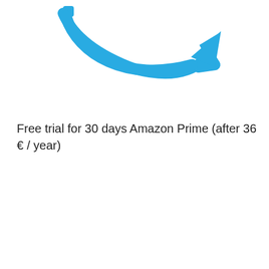[Figure (logo): Amazon smile/arrow logo in light blue, showing the curved arrow part of the Amazon logo]
Free trial for 30 days Amazon Prime (after 36 € / year)